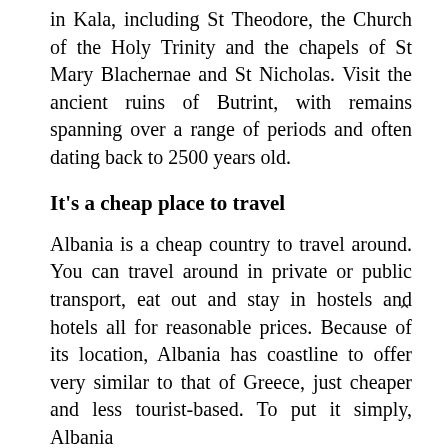in Kala, including St Theodore, the Church of the Holy Trinity and the chapels of St Mary Blachernae and St Nicholas. Visit the ancient ruins of Butrint, with remains spanning over a range of periods and often dating back to 2500 years old.
It's a cheap place to travel
Albania is a cheap country to travel around. You can travel around in private or public transport, eat out and stay in hostels and hotels all for reasonable prices. Because of its location, Albania has coastline to offer very similar to that of Greece, just cheaper and less tourist-based. To put it simply, Albania back packer's heaven.
Budget around $15 a night for a really good hostel, you can find ones with reviews onlin...